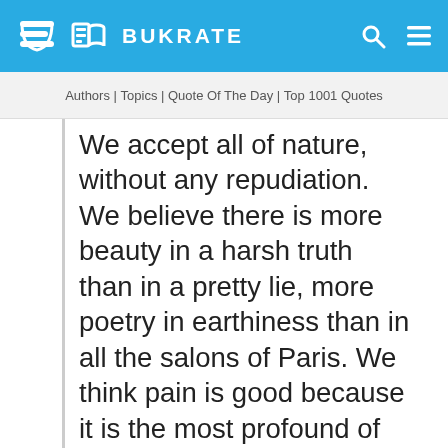BUKRATE
Authors | Topics | Quote Of The Day | Top 1001 Quotes
We accept all of nature, without any repudiation. We believe there is more beauty in a harsh truth than in a pretty lie, more poetry in earthiness than in all the salons of Paris. We think pain is good because it is the most profound of all human feelings. We think sex is beautiful even when portrayed by a harlot and a pimp. We put character above ugliness, pain above prettiness and hard, crude reality above all the wealth in France. We accept life in its entirety without making moral judgments. We think the prostitute is as good as the countess, the concierge as